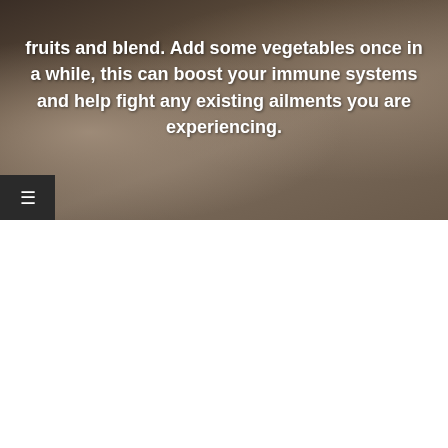fruits and blend. Add some vegetables once in a while, this can boost your immune systems and help fight any existing ailments you are experiencing.
[Figure (photo): Photo of orange juice in a glass and a bowl with orange slices on a wooden table outdoors]